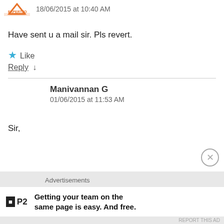18/06/2015 at 10:40 AM
Have sent u a mail sir. Pls revert.
★ Like
Reply ↓
Manivannan G
01/06/2015 at 11:53 AM
Sir,
Advertisements
Getting your team on the same page is easy. And free.